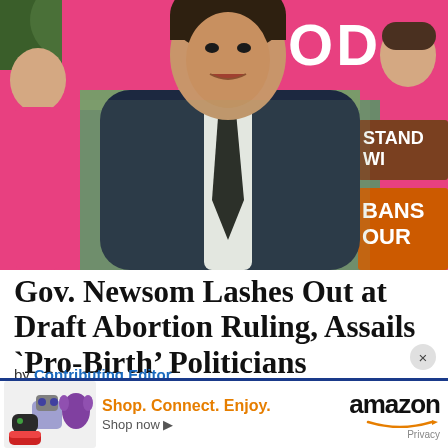[Figure (photo): Photo of Gov. Newsom speaking at a press conference, wearing a dark navy suit with white shirt and dark tie, surrounded by people holding pink Planned Parenthood signs and an orange BANS OUR sign in the background.]
Gov. Newsom Lashes Out at Draft Abortion Ruling, Assails `Pro-Birth’ Politicians
by Contributing Editor
May 4, 2022
[Figure (photo): Amazon advertisement banner with cartoon mascot characters, text: Shop. Connect. Enjoy. Shop now ▶ amazon Privacy]